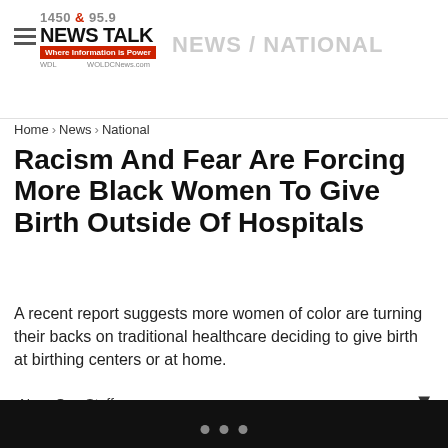1450 & 95.9 NEWS TALK Where Information is Power WDL WOLDCNews.com — NEWS / NATIONAL
Home › News › National
Racism And Fear Are Forcing More Black Women To Give Birth Outside Of Hospitals
A recent report suggests more women of color are turning their backs on traditional healthcare deciding to give birth at birthing centers or at home.
NewsOne Staff